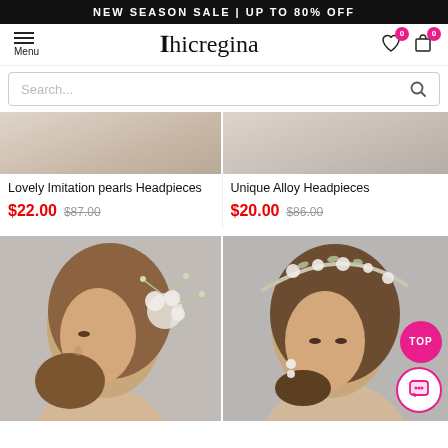NEW SEASON SALE | UP TO 80% OFF
[Figure (logo): Chicregina logo with hamburger menu and nav icons (heart and cart with 0 badge)]
[Figure (screenshot): Search bar with placeholder text 'Search...' and magnifier icon]
Lovely Imitation pearls Headpieces
$22.00  $87.00
Unique Alloy Headpieces
$20.00  $86.00
[Figure (photo): Woman with braided updo hairstyle wearing white floral lace hair clip, side profile, gray background]
[Figure (photo): Woman wearing silver floral and pearl hair vine headband/crown, gray background, with TOP button and chat button overlaid]